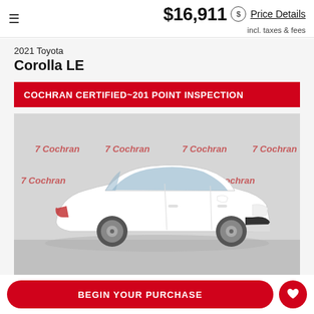≡   $16,911  ⓢ Price Details  incl. taxes & fees
2021 Toyota Corolla LE
COCHRAN CERTIFIED~201 POINT INSPECTION
[Figure (photo): White 2021 Toyota Corolla LE photographed in front of a 7 Cochran dealership branded backdrop]
BEGIN YOUR PURCHASE